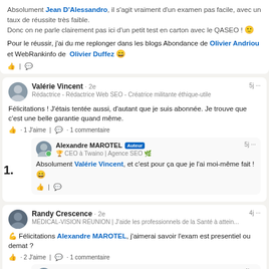Absolument Jean D'Alessandro, il s'agit vraiment d'un examen pas facile, avec un taux de réussite très faible. Donc on ne parle clairement pas ici d'un petit test en carton avec le QASEO ! 😊

Pour le réussir, j'ai du me replonger dans les blogs Abondance de Olivier Andriou et WebRankinfo de Olivier Duffez 😄
Valérie Vincent • 2e
Rédactrice - Rédactrice Web SEO - Créatrice militante éthique-utile
5j ...
Félicitations ! J'étais tentée aussi, d'autant que je suis abonnée. Je trouve que c'est une belle garantie quand même.
· 1 J'aime · 1 commentaire
Alexandre MAROTEL Auteur
🏆 CEO à Twaino | Agence SEO 🌿
5j ...
Absolument Valérie Vincent, et c'est pour ça que je l'ai moi-même fait ! 😄
1.
Randy Crescence • 2e
MÉDICAL-VISION RÉUNION | J'aide les professionnels de la Santé à attein...
4j ...
💪 Félicitations Alexandre MAROTEL, j'aimerai savoir l'exam est presentiel ou demat ?
· 2 J'aime · 1 commentaire
Alexandre MAROTEL Auteur
🏆 CEO à Twaino | Agence SEO 🌿
4j ...
Ça dépend des cas Randy Crescence ! 😄